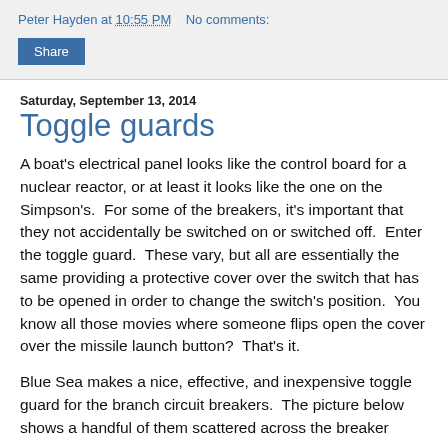Peter Hayden at 10:55 PM   No comments:
Share
Saturday, September 13, 2014
Toggle guards
A boat's electrical panel looks like the control board for a nuclear reactor, or at least it looks like the one on the Simpson's.  For some of the breakers, it's important that they not accidentally be switched on or switched off.  Enter the toggle guard.  These vary, but all are essentially the same providing a protective cover over the switch that has to be opened in order to change the switch's position.  You know all those movies where someone flips open the cover over the missile launch button?  That's it.
Blue Sea makes a nice, effective, and inexpensive toggle guard for the branch circuit breakers.  The picture below shows a handful of them scattered across the breaker